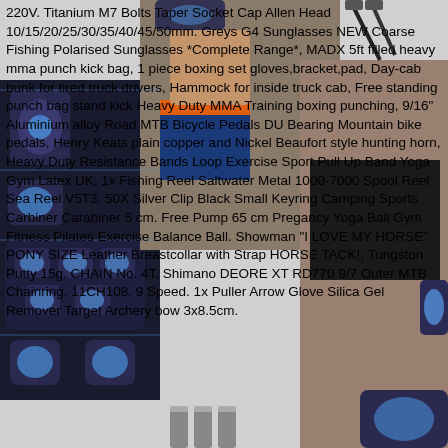[Figure (photo): Composite product listing image showing EMS muscle stimulator pads/device with a man in workout shorts and a woman in sportswear, partially obscured by overlaid product listing text. Also visible are USB cables and battery-like objects at the bottom.]
220V. Titanium M7 Bolts Taper Socket Cap Allen Head 10/15/20/25/30/35/40/45/50mm. Greys G4 Sunglasses NEW Coarse Fishing Polarised Sunglasses *Complete Range*, MADX 5ft filled heavy mma punch kick bag, 1 piece boxing set gloves,bracket,pad, Day-cab bunk for tired truck drivers, Hammock for inside truck cab, Free standing punch bag stand kick Heavy Duty MMA Training boxing punching, 9/16" Aluminium alloy Road MTB Bicycle Pedals DU Bearing Mountain bike pedals, Henry Keats plain copper and Nickel Beaufort style hunting horn, Heavy Duty Resistance Bands Loop Exercise Sport Pull Up Band Yoga Gym Latex UK, 1x Fishing Reel Saltwater Metal 1000-7000 Spool Reel Sea Reel V5T3. 50X Silver Clip Black Small Keyring Camping Sports Carbiner Carabiner 5 cm. Free Pump 65 cm Pregancy Yoga Ball Gym Fitness Pilates Exercise Balance Ball. Showman "I LOVE MY HORSE" PONY SIZE Leather Breastcollar with Strap HORSE TACK!, Tungston Putty 15g. CHAIN No. 4T. Shimano DEORE XT RD770 9/7 Outer MTB Chainring, 11CH108, 9 Speed. 1x Puller Arrow Glove Silica Gel Remover Target Archery bow 3x8.5cm.